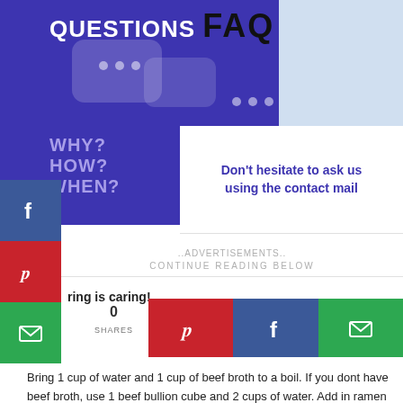[Figure (infographic): FAQ banner with purple background, chat bubbles, QUESTIONS FAQ text, WHY? HOW? WHEN? labels, and overlay card saying Don't hesitate to ask us using the contact mail]
Don't hesitate to ask us using the contact mail
..ADVERTISEMENTS.. CONTINUE READING BELOW
ring is caring!
0 SHARES
Bring 1 cup of water and 1 cup of beef broth to a boil. If you dont have beef broth, use 1 beef bullion cube and 2 cups of water. Add in ramen noodles.